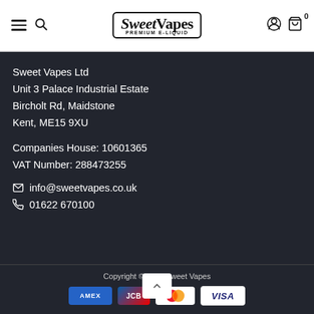Sweet Vapes Premium E-Liquid
Sweet Vapes Ltd
Unit 3 Palace Industrial Estate
Bircholt Rd, Maidstone
Kent, ME15 9XU
Companies House: 10601365
VAT Number: 288473255
info@sweetvapes.co.uk
01622 670100
Copyright © 2022 Sweet Vapes